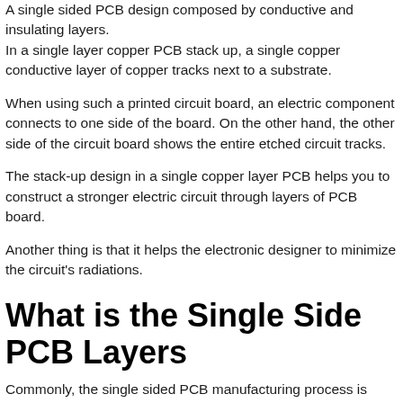A single sided PCB design composed by conductive and insulating layers. In a single layer copper PCB stack up, a single copper conductive layer of copper tracks next to a substrate.
When using such a printed circuit board, an electric component connects to one side of the board. On the other hand, the other side of the circuit board shows the entire etched circuit tracks.
The stack-up design in a single copper layer PCB helps you to construct a stronger electric circuit through layers of PCB board.
Another thing is that it helps the electronic designer to minimize the circuit's radiations.
What is the Single Side PCB Layers
Commonly, the single sided PCB manufacturing process is